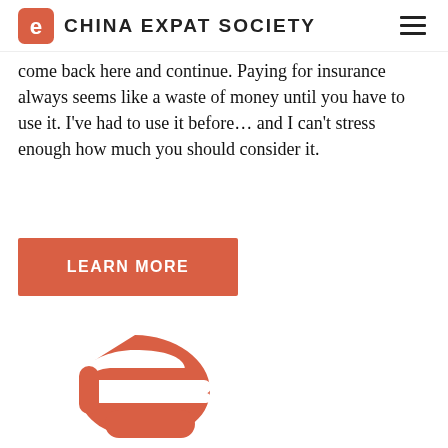China Expat Society
come back here and continue. Paying for insurance always seems like a waste of money until you have to use it. I’ve had to use it before… and I can’t stress enough how much you should consider it.
[Figure (other): LEARN MORE button — a terracotta/salmon-colored rectangular call-to-action button with white uppercase text reading LEARN MORE]
[Figure (logo): China Expat Society logo mark — a red stylized letter e / snake-like shape forming the CES brand icon]